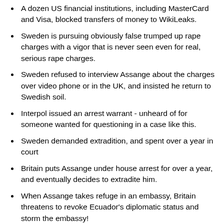A dozen US financial institutions, including MasterCard and Visa, blocked transfers of money to WikiLeaks.
Sweden is pursuing obviously false trumped up rape charges with a vigor that is never seen even for real, serious rape charges.
Sweden refused to interview Assange about the charges over video phone or in the UK, and insisted he return to Swedish soil.
Interpol issued an arrest warrant - unheard of for someone wanted for questioning in a case like this.
Sweden demanded extradition, and spent over a year in court
Britain puts Assange under house arrest for over a year, and eventually decides to extradite him.
When Assange takes refuge in an embassy, Britain threatens to revoke Ecuador's diplomatic status and storm the embassy!